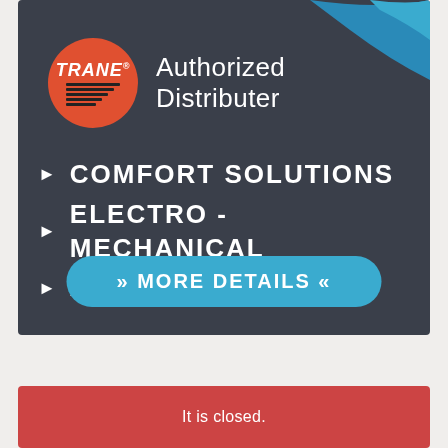[Figure (illustration): Trane Authorized Distributer advertisement banner on dark gray background with blue swoosh in top-right corner, Trane logo (orange circle with red horizontal lines and TRANE text), bullet list of services (COMFORT SOLUTIONS, ELECTRO - MECHANICAL, AIR CONDITIONING), and a blue MORE DETAILS button]
COMFORT SOLUTIONS
ELECTRO - MECHANICAL
AIR CONDITIONING
It is closed.